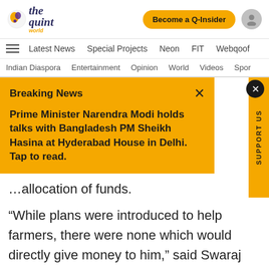[Figure (logo): The Quint World logo with bird icon]
the quint world — Become a Q-Insider
Latest News   Special Projects   Neon   FIT   Webqoof
Indian Diaspora   Entertainment   Opinion   World   Videos   Spor
…and Varun Sharma
Breaking News — Prime Minister Narendra Modi holds talks with Bangladesh PM Sheikh Hasina at Hyderabad House in Delhi. Tap to read.
…package worth Rs 20…minister Nirmala…allocation of funds.
“While plans were introduced to help farmers, there were none which would directly give money to him,” said Swaraj India President Yogendra Yadav.
He further added that despite talking about farmers…